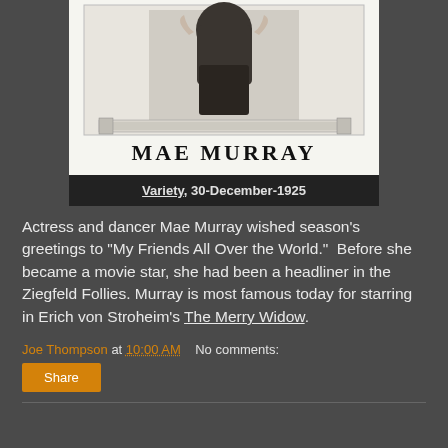[Figure (photo): Vintage advertisement or promotional image for Mae Murray, showing a woman with text 'MAE MURRAY' in large bold letters and decorative border at bottom]
Variety, 30-December-1925
Actress and dancer Mae Murray wished season's greetings to "My Friends All Over the World."  Before she became a movie star, she had been a headliner in the Ziegfeld Follies. Murray is most famous today for starring in Erich von Stroheim's The Merry Widow.
Joe Thompson at 10:00 AM   No comments:
Share